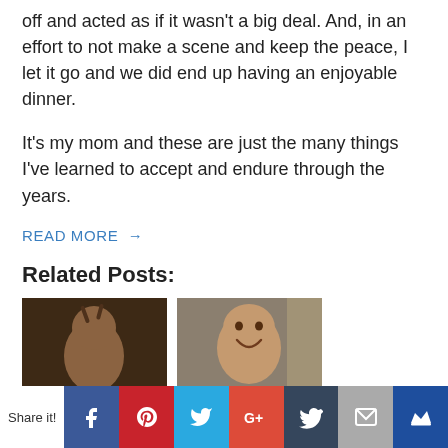off and acted as if it wasn't a big deal. And, in an effort to not make a scene and keep the peace, I let it go and we did end up having an enjoyable dinner.
It's my mom and these are just the many things I've learned to accept and endure through the years.
READ MORE →
Related Posts:
[Figure (photo): Child with hair pulled up in small pigtails, low-light indoor photo]
[Figure (photo): Smiling baby/toddler laughing in a shopping cart, store background]
Share it! [Facebook] [Pinterest] [Twitter] [Google+] [Tumblr] [Email] [Crown/Wattpad]